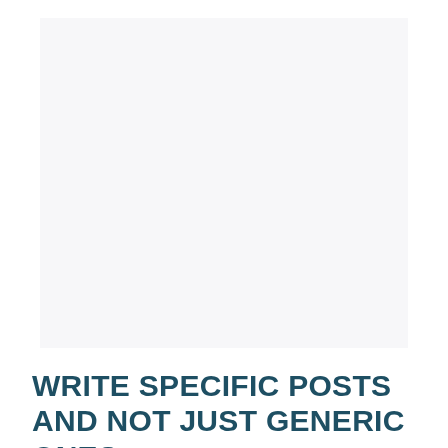[Figure (other): Large blank light gray rectangular area filling the upper portion of the page]
WRITE SPECIFIC POSTS AND NOT JUST GENERIC ONES